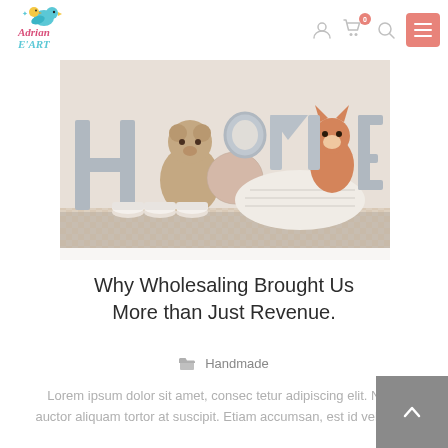[Figure (logo): Adrian E'Art logo with colorful bird and text]
[Figure (photo): HOME letters with stuffed animals, candles, and pillows arranged decoratively on a shelf]
Why Wholesaling Brought Us More than Just Revenue.
Handmade
Lorem ipsum dolor sit amet, consec tetur adipiscing elit. Nulla auctor aliquam tortor at suscipit. Etiam accumsan, est id vehicula.